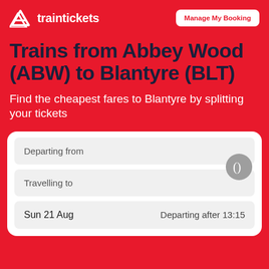traintickets | Manage My Booking
Trains from Abbey Wood (ABW) to Blantyre (BLT)
Find the cheapest fares to Blantyre by splitting your tickets
Departing from
Travelling to
Sun 21 Aug   Departing after 13:15